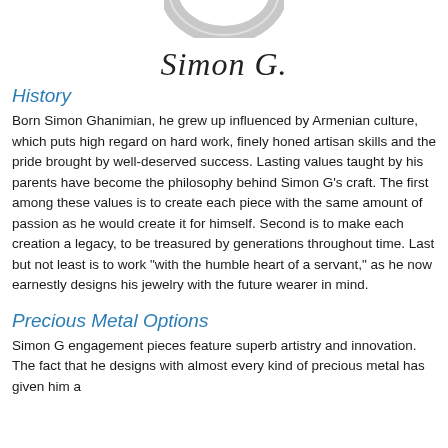[Figure (photo): Partial image of a circular metallic object (likely a ring or jewelry piece) at the top of the page]
Simon G.
History
Born Simon Ghanimian, he grew up influenced by Armenian culture, which puts high regard on hard work, finely honed artisan skills and the pride brought by well-deserved success. Lasting values taught by his parents have become the philosophy behind Simon G's craft. The first among these values is to create each piece with the same amount of passion as he would create it for himself. Second is to make each creation a legacy, to be treasured by generations throughout time. Last but not least is to work "with the humble heart of a servant," as he now earnestly designs his jewelry with the future wearer in mind.
Precious Metal Options
Simon G engagement pieces feature superb artistry and innovation. The fact that he designs with almost every kind of precious metal has given him a